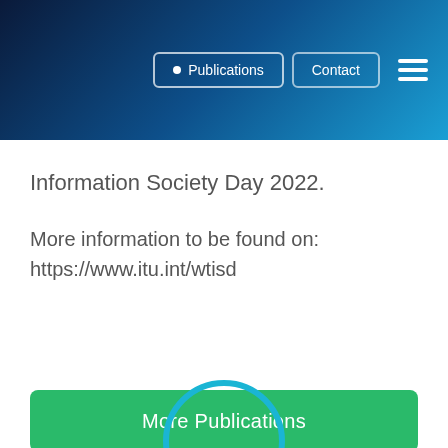[Figure (screenshot): Navigation header bar with blue gradient background, Publications button with dot indicator, Contact button, and hamburger menu icon]
Information Society Day 2022.
More information to be found on:
https://www.itu.int/wtisd
More Publications
[Figure (illustration): Teal/cyan circle partially visible at bottom of page]